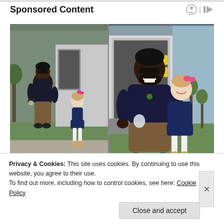Sponsored Content
[Figure (photo): Two-panel photo showing a large man with sunglasses and a black beanie crouching next to a small toddler girl with a pink bow near the back of a delivery truck. Left panel shows him offering her something while she faces away; right panel shows both smiling at the camera.]
Privacy & Cookies: This site uses cookies. By continuing to use this website, you agree to their use.
To find out more, including how to control cookies, see here: Cookie Policy
Close and accept